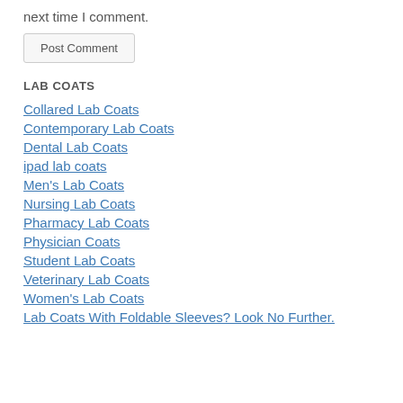next time I comment.
Post Comment
LAB COATS
Collared Lab Coats
Contemporary Lab Coats
Dental Lab Coats
ipad lab coats
Men's Lab Coats
Nursing Lab Coats
Pharmacy Lab Coats
Physician Coats
Student Lab Coats
Veterinary Lab Coats
Women's Lab Coats
Lab Coats With Foldable Sleeves? Look No Further.